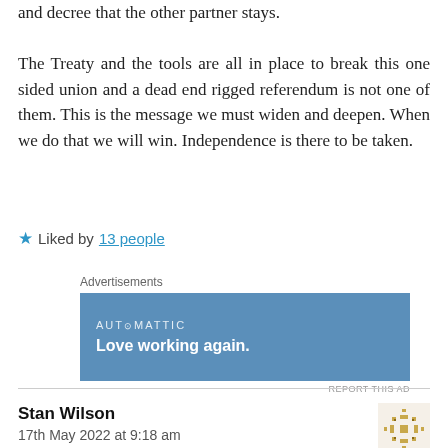and decree that the other partner stays.

The Treaty and the tools are all in place to break this one sided union and a dead end rigged referendum is not one of them. This is the message we must widen and deepen. When we do that we will win. Independence is there to be taken.
★ Liked by 13 people
[Figure (screenshot): Automattic advertisement banner with text 'AUTOMATTIC' and 'Love working again.' on a blue background]
Stan Wilson
17th May 2022 at 9:18 am